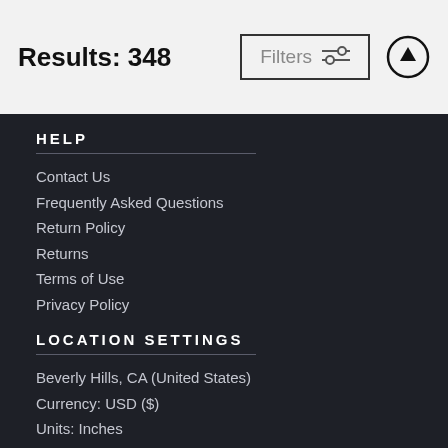Results: 348
HELP
Contact Us
Frequently Asked Questions
Return Policy
Returns
Terms of Use
Privacy Policy
LOCATION SETTINGS
Beverly Hills, CA (United States)
Currency: USD ($)
Units: Inches
STAY CONNECTED
Sign up for our newsletter for exclusive deals, discount codes, and more.
[Figure (other): Social media icons: Facebook, Twitter, Instagram, Pinterest, YouTube]